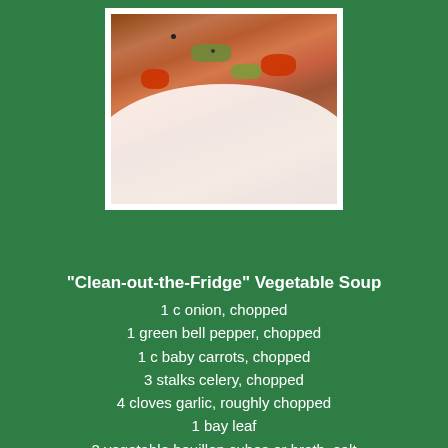[Figure (photo): A white bowl filled with vegetable soup containing red tomatoes, green peppers, celery, and other vegetables in a broth, photographed close-up on a dark background.]
"Clean-out-the-Fridge" Vegetable Soup
1 c onion, chopped
1 green bell pepper, chopped
1 c baby carrots, chopped
3 stalks celery, chopped
4 cloves garlic, roughly chopped
1 bay leaf
2 vegetable bouillon cubes or broth, salt